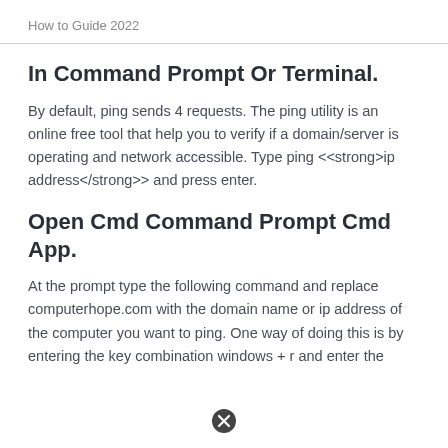How to Guide 2022
In Command Prompt Or Terminal.
By default, ping sends 4 requests. The ping utility is an online free tool that help you to verify if a domain/server is operating and network accessible. Type ping <<strong>ip address</strong>> and press enter.
Open Cmd Command Prompt Cmd App.
At the prompt type the following command and replace computerhope.com with the domain name or ip address of the computer you want to ping. One way of doing this is by entering the key combination windows + r and enter the